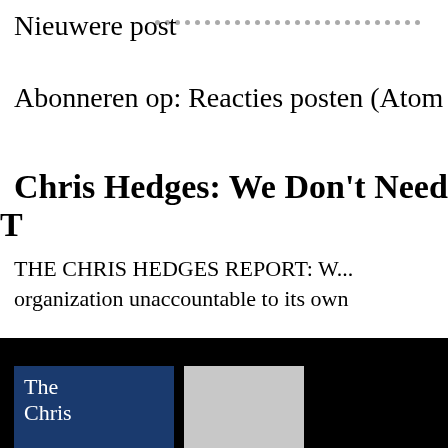Nieuwere post
Abonneren op: Reacties posten (Atom
Chris Hedges: We Don't Need T
THE CHRIS HEDGES REPORT: W... organization unaccountable to its own
[Figure (photo): Black background with a blue panel showing 'The Chris' text and a grey image panel to the right, resembling a video thumbnail for The Chris Hedges Report.]